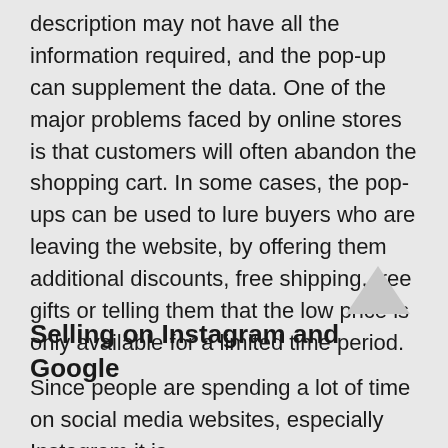description may not have all the information required, and the pop-up can supplement the data. One of the major problems faced by online stores is that customers will often abandon the shopping cart. In some cases, the pop-ups can be used to lure buyers who are leaving the website, by offering them additional discounts, free shipping, free gifts or telling them that the low price is only available for a limited time period.
Selling on Instagram and Google
Since people are spending a lot of time on social media websites, especially Instagram it is